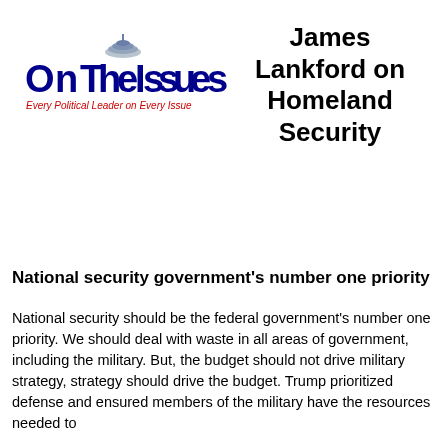[Figure (logo): OnTheIssues logo — dome graphic above text 'OnTheIssues' in blue, with red italic tagline 'Every Political Leader on Every Issue']
James Lankford on Homeland Security
National security government's number one priority
National security should be the federal government's number one priority. We should deal with waste in all areas of government, including the military. But, the budget should not drive military strategy, strategy should drive the budget. Trump prioritized defense and ensured members of the military have the resources needed to